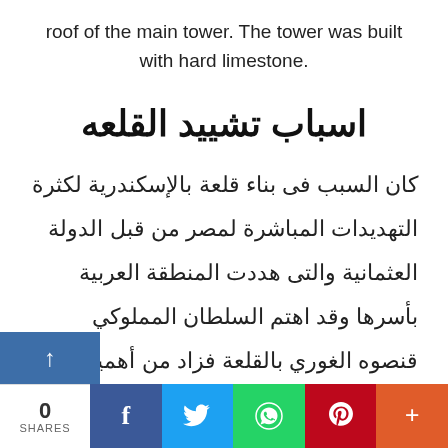roof of the main tower. The tower was built with hard limestone.
اسباب تشييد القلعه
كان السبب فى بناء قلعة بالإسكندرية لكثرة التهديدات المباشرة لمصر من قبل الدولة العثمانية والتى هددت المنطقة العربية بأسرها وقد اهتم السلطان المملوكي قنصوه الغوري بالقلعة فزاد من أهميتها وشحنها بالسلاح، ولما فتح العثمانيون مصر استخدموا هذه القلعة مكانًا لحاميتهم واهتموا بالمحافظة عليها وجعلوا بها طوائف من الجند المشاة
0 SHARES | f | 🐦 | ● | P | +